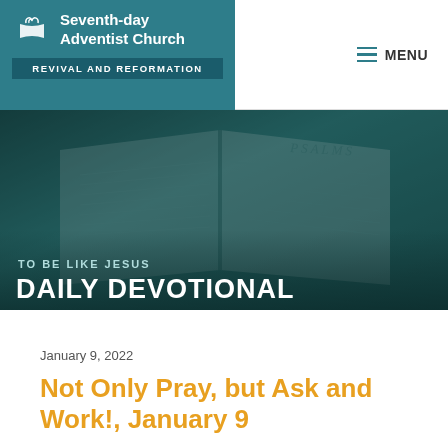Seventh-day Adventist Church — REVIVAL AND REFORMATION — MENU
[Figure (photo): Open Bible showing the book of Psalms, with a teal/dark overlay. Text overlaid: 'TO BE LIKE JESUS' and 'DAILY DEVOTIONAL']
January 9, 2022
Not Only Pray, but Ask and Work!, January 9